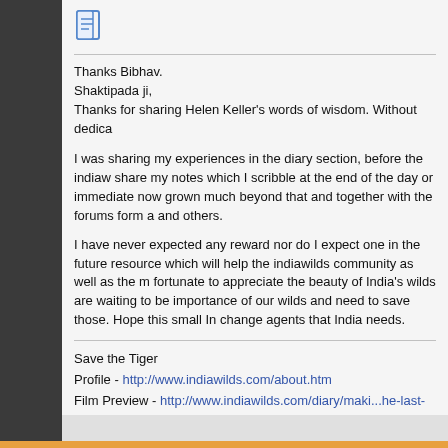[Figure (illustration): Document/notes icon in blue]
Thanks Bibhav.
Shaktipada ji,
Thanks for sharing Helen Keller's words of wisdom. Without dedica
I was sharing my experiences in the diary section, before the indiaw share my notes which I scribble at the end of the day or immediate now grown much beyond that and together with the forums form a and others.
I have never expected any reward nor do I expect one in the future resource which will help the indiawilds community as well as the m fortunate to appreciate the beauty of India's wilds are waiting to be importance of our wilds and need to save those. Hope this small In change agents that India needs.
Save the Tiger
Profile - http://www.indiawilds.com/about.htm
Film Preview - http://www.indiawilds.com/diary/maki...he-last-stand
Equipment Review - http://www.indiawilds.com/diary/category/equi
[Figure (screenshot): YouTube subscribe button showing 3K subscribers]